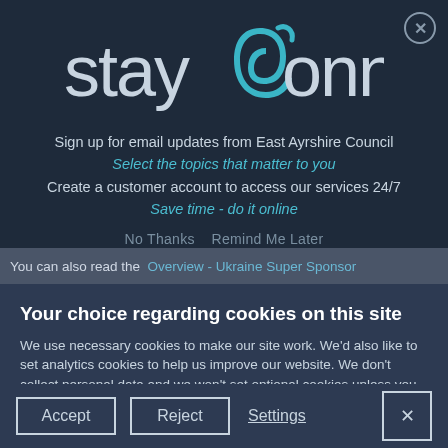[Figure (logo): stayconnected logo with teal swirl/letter 'a' design on dark navy background]
Sign up for email updates from East Ayrshire Council
Select the topics that matter to you
Create a customer account to access our services 24/7
Save time - do it online
No Thanks   Remind Me Later
You can also read the  Overview - Ukraine Super Sponsor
Your choice regarding cookies on this site
We use necessary cookies to make our site work. We'd also like to set analytics cookies to help us improve our website. We don't collect personal data and we won't set optional cookies unless you select Accept.